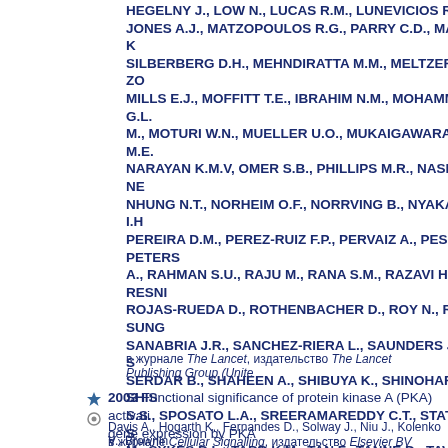HEGELNY J., LOW N., LUCAS R.M., LUNEVICIOS R., LYONS R.A., MA... JONES A.J., MATZOPOULOS R.G., PARRY C.D., MAYOSI B.M., SLIWA K... SILBERBERG D.H., MEHNDIRATTA M.M., MELTZER M., MENSAH G., ZO... MILLS E.J., MOFFITT T.E., IBRAHIM N.M., MOHAMMAD K.A., MOLA G.L... M., MOTURI W.N., MUELLER U.O., MUKAIGAWARA M., MURDOCH M.E... NARAYAN K.M.V, OMER S.B., PHILLIPS M.R., NASH D., NEJJARI C., NE... NHUNG N.T., NORHEIM O.F., NORRVING B., NYAKARAHUKA L., OH I.H... PEREIRA D.M., PEREZ-RUIZ F.P., PERVAIZ A., PESUDOVS K., PETERS... A., RAHMAN S.U., RAJU M., RANA S.M., RAZAVI H., REFAAT A., RESNI... ROJAS-RUEDA D., ROTHENBACHER D., ROY N., RUHAGO G.M., SUN... SANABRIA J.R., SANCHEZ-RIERA L., SAUNDERS J.E., SAWHNEY M., S... SERDAR B., SHAHEEN A., SHIBUYA K., SHINOHARA Y., SHIRI R., SHIS... S.S., SPOSATO L.A., SREERAMAREDDY C.T., STATHOPOULOU V.K., S... M., SYKES B.L., TABB K.M., TAN F., TANNE D., TAVAKKOLI M., TEMESO... TOPOUZIS F., TOWBIN J.A., TOYOSHIMA H., TRAEBERT J., TRUELSEN... VIJVER S., DINGENEN R.V., VAN GOOL C.H., VARAKIN Y.Y., ZHU J., VA... VLASSOV V.V., WALLER S., WAN X., WANG Y., WEICHENTHAL S., WER... T.N., WILLIAMS H.C., WOLDEYOHANNES S.M., WONG J.Q., WOOLF A... YOUNIS M., YU C., KIM K.Y., ZAKI M.E.S, ZHAO Y.
в журнале The Lancet, издательство The Lancet Publishing Group (Unite...
2003 Functional significance of protein kinase A (PKA) activati... gene expression by PKA
Davis A., Hogarth K., Fernandes D., Solway J., Niu J., Kolenko V., Brownin...
в журнале Cellular Signalling, издательство Elsevier BV (Netherlands), to...